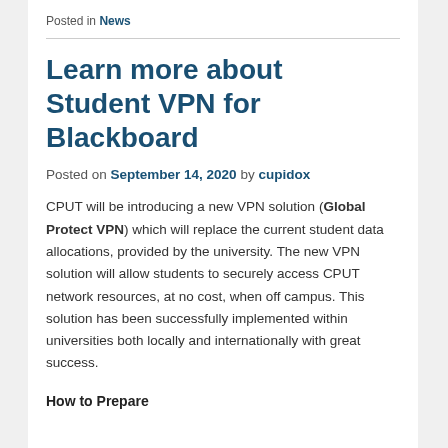Posted in News
Learn more about Student VPN for Blackboard
Posted on September 14, 2020 by cupidox
CPUT will be introducing a new VPN solution (Global Protect VPN) which will replace the current student data allocations, provided by the university. The new VPN solution will allow students to securely access CPUT network resources, at no cost, when off campus. This solution has been successfully implemented within universities both locally and internationally with great success.
How to Prepare